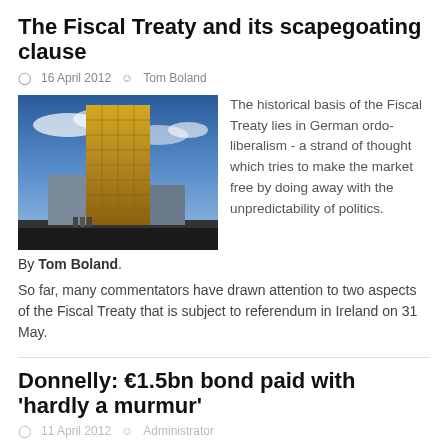The Fiscal Treaty and its scapegoating clause
16 April 2012   Tom Boland
[Figure (photo): Photograph of a tall modern gold-clad building against a blue sky with clouds]
The historical basis of the Fiscal Treaty lies in German ordo-liberalism - a strand of thought which tries to make the market free by doing away with the unpredictability of politics.
By Tom Boland.
So far, many commentators have drawn attention to two aspects of the Fiscal Treaty that is subject to referendum in Ireland on 31 May.
Donnelly: €1.5bn bond paid with 'hardly a murmur'
11 April 2012   Administrator